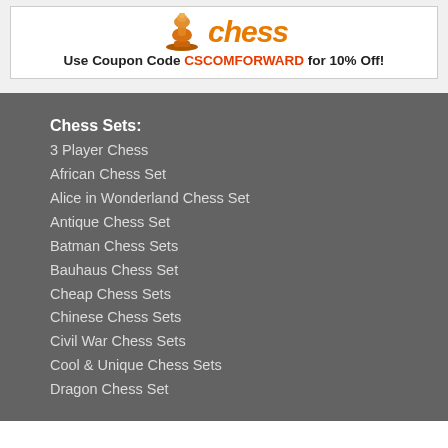[Figure (logo): Chess website logo with chess piece icon and stylized 'chess' text in orange]
Use Coupon Code CSCOMFORWARD for 10% Off!
Chess Sets:
3 Player Chess
African Chess Set
Alice in Wonderland Chess Set
Antique Chess Set
Batman Chess Sets
Bauhaus Chess Set
Cheap Chess Sets
Chinese Chess Sets
Civil War Chess Sets
Cool & Unique Chess Sets
Dragon Chess Set